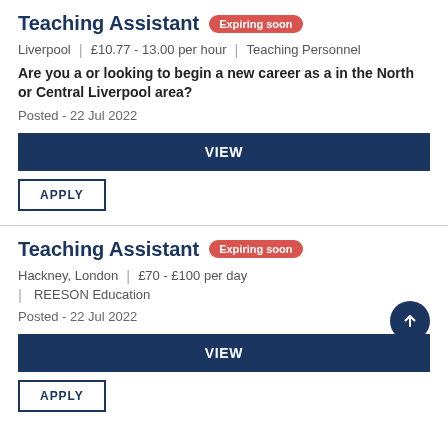Teaching Assistant Expiring soon
Liverpool | £10.77 - 13.00 per hour | Teaching Personnel
Are you a or looking to begin a new career as a in the North or Central Liverpool area?
Posted - 22 Jul 2022
VIEW
APPLY
Teaching Assistant Expiring soon
Hackney, London | £70 - £100 per day | REESON Education
Posted - 22 Jul 2022
VIEW
APPLY